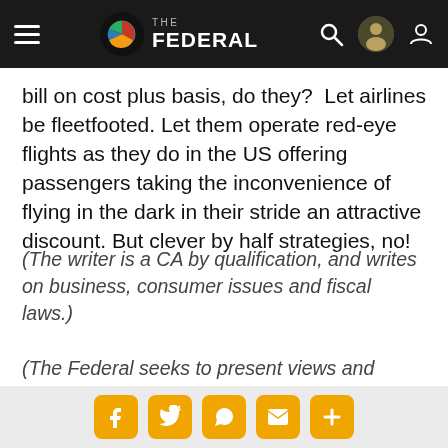THE FEDERAL
bill on cost plus basis, do they?  Let airlines be fleetfooted. Let them operate red-eye flights as they do in the US offering passengers taking the inconvenience of flying in the dark in their stride an attractive discount. But clever by half strategies, no!
(The writer is a CA by qualification, and writes on business, consumer issues and fiscal laws.)
(The Federal seeks to present views and